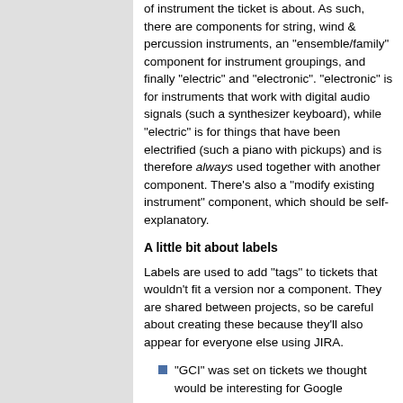of instrument the ticket is about. As such, there are components for string, wind & percussion instruments, an "ensemble/family" component for instrument groupings, and finally "electric" and "electronic". "electronic" is for instruments that work with digital audio signals (such a synthesizer keyboard), while "electric" is for things that have been electrified (such a piano with pickups) and is therefore always used together with another component. There's also a "modify existing instrument" component, which should be self-explanatory.
A little bit about labels
Labels are used to add "tags" to tickets that wouldn't fit a version nor a component. They are shared between projects, so be careful about creating these because they'll also appear for everyone else using JIRA.
"GCI" was set on tickets we thought would be interesting for Google